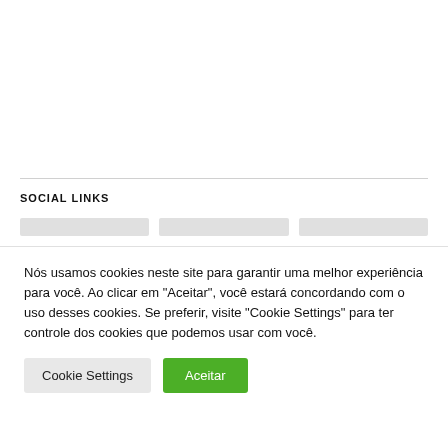SOCIAL LINKS
Nós usamos cookies neste site para garantir uma melhor experiência para você. Ao clicar em "Aceitar", você estará concordando com o uso desses cookies. Se preferir, visite "Cookie Settings" para ter controle dos cookies que podemos usar com você.
Cookie Settings
Aceitar